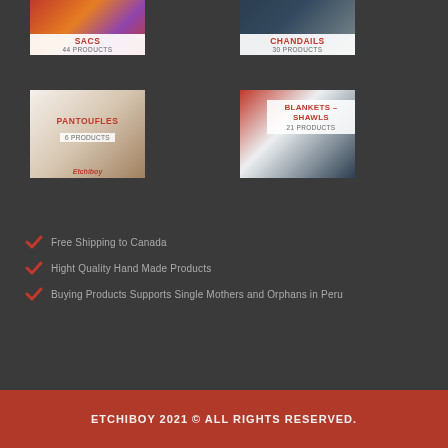[Figure (photo): Product category card: SACS - 44 PRODUCTS, colorful striped bag image]
[Figure (photo): Product category card: CHANDAILS - 30 PRODUCTS, knitted sweater/hat image]
[Figure (photo): Product category card: PANTOUFLES - 6 PRODUCTS, brown slippers image with Etchiboy logo]
[Figure (photo): Product category card: BLANKETS - SHAWLS - 21 PRODUCTS, woman in red coat image]
Free Shipping to Canada
Hight Quality Hand Made Products
Buying Products Supports Single Mothers and Orphans in Peru
ETCHIBOY 2021 © ALL RIGHTS RESERVED.